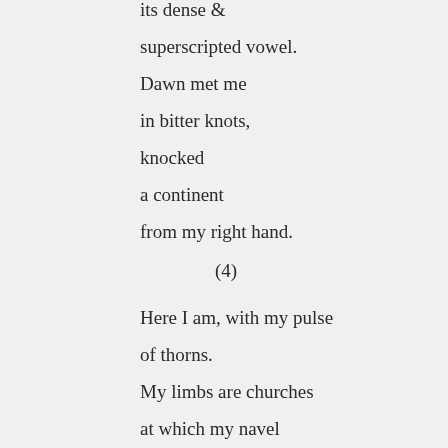its dense &

superscripted vowel.
Dawn met me

in bitter knots,

knocked

a continent

from my right hand.
(4)
Here I am, with my pulse

of thorns.
My limbs are churches

at which my navel

worships.
They ascend & descend